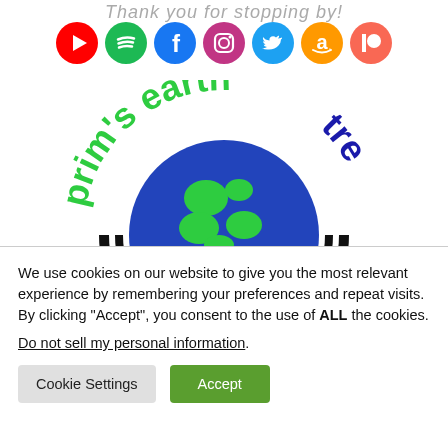Thank you for stopping by!
[Figure (illustration): Row of 7 social media icons in colored circles: YouTube (red), Spotify (green), Facebook (blue), Instagram (pink/magenta), Twitter (light blue), Amazon (orange), Patreon (coral/salmon)]
[Figure (logo): Prim's Earth Trek logo — partial circular logo showing a globe with green continents on blue background inside a black ring, with curved text 'prim's earth trek' in green and blue around the top arc]
We use cookies on our website to give you the most relevant experience by remembering your preferences and repeat visits. By clicking “Accept”, you consent to the use of ALL the cookies.
Do not sell my personal information.
Cookie Settings
Accept